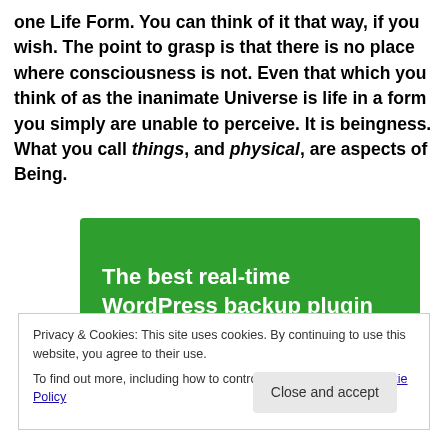one Life Form. You can think of it that way, if you wish. The point to grasp is that there is no place where consciousness is not. Even that which you think of as the inanimate Universe is life in a form you simply are unable to perceive. It is beingness. What you call things, and physical, are aspects of Being.
[Figure (other): Green banner advertisement reading 'The best real-time WordPress backup plugin']
Privacy & Cookies: This site uses cookies. By continuing to use this website, you agree to their use.
To find out more, including how to control cookies, see here: Cookie Policy
Close and accept